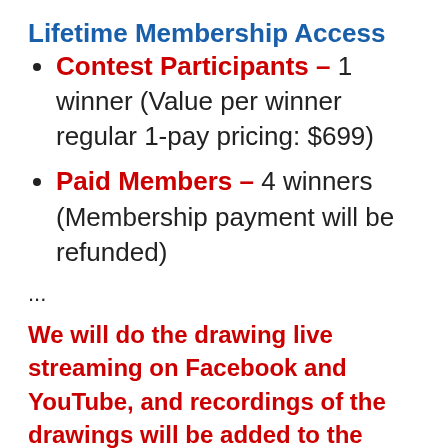Lifetime Membership Access
Contest Participants – 1 winner (Value per winner regular 1-pay pricing: $699)
Paid Members – 4 winners (Membership payment will be refunded)
...
We will do the drawing live streaming on Facebook and YouTube, and recordings of the drawings will be added to the different channels and social pages as well as within the SMART Community Center, which is our